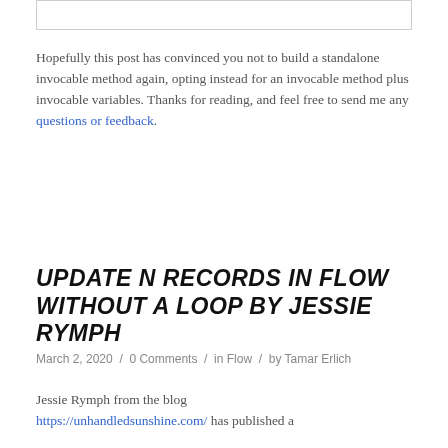[Figure (other): Gray top box/image placeholder at the top of the page]
Hopefully this post has convinced you not to build a standalone invocable method again, opting instead for an invocable method plus invocable variables. Thanks for reading, and feel free to send me any questions or feedback.
UPDATE N RECORDS IN FLOW WITHOUT A LOOP BY JESSIE RYMPH
March 2, 2020 / 0 Comments / in Flow / by Tamar Erlich
Jessie Rymph from the blog https://unhandledsunshine.com/ has published a